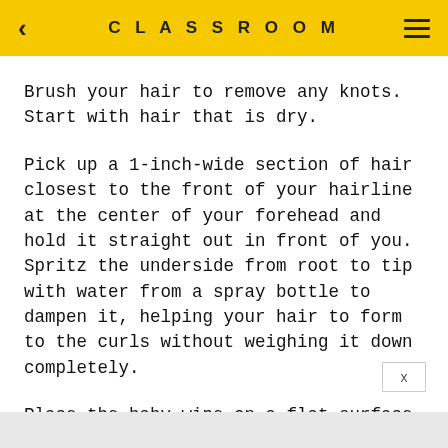CLASSROOM
Brush your hair to remove any knots. Start with hair that is dry.
Pick up a 1-inch-wide section of hair closest to the front of your hairline at the center of your forehead and hold it straight out in front of you. Spritz the underside from root to tip with water from a spray bottle to dampen it, helping your hair to form to the curls without weighing it down completely.
Place the baby wipe on a flat surface. Grasp the top two corners of the wipe with each